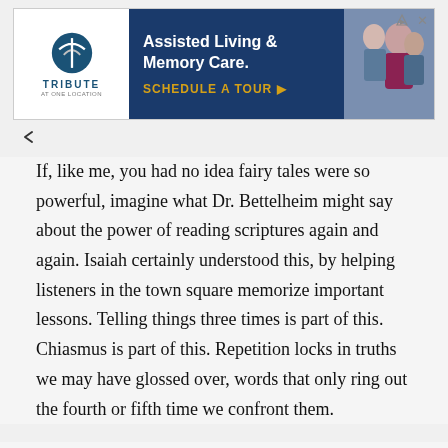[Figure (infographic): Advertisement banner for 'Tribute at One Location' Assisted Living & Memory Care with a 'Schedule a Tour' call to action. Shows Tribute logo on white background, dark blue panel with text, and photo of elderly woman with caregiver.]
If, like me, you had no idea fairy tales were so powerful, imagine what Dr. Bettelheim might say about the power of reading scriptures again and again. Isaiah certainly understood this, by helping listeners in the town square memorize important lessons. Telling things three times is part of this. Chiasmus is part of this. Repetition locks in truths we may have glossed over, words that only ring out the fourth or fifth time we confront them.
Another example of our emotional need for repetition is in holidays and traditions. They reaffirm what we know, and tell us that at least something in this wild world is stable and dependable. Through them we can count on